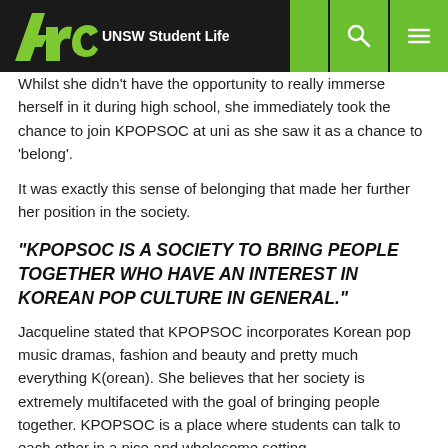Arc UNSW Student Life
Whilst she didn't have the opportunity to really immerse herself in it during high school, she immediately took the chance to join KPOPSOC at uni as she saw it as a chance to 'belong'.
It was exactly this sense of belonging that made her further her position in the society.
“KPOPSOC IS A SOCIETY TO BRING PEOPLE TOGETHER WHO HAVE AN INTEREST IN KOREAN POP CULTURE IN GENERAL.”
Jacqueline stated that KPOPSOC incorporates Korean pop music dramas, fashion and beauty and pretty much everything K(orean). She believes that her society is extremely multifaceted with the goal of bringing people together. KPOPSOC is a place where students can talk to each other in a nice and wholesome setting.
When asked about idols, she said that when she was younger she had always looked up to people around her. This included her mum and her teachers. As she grew up, she started to idolise